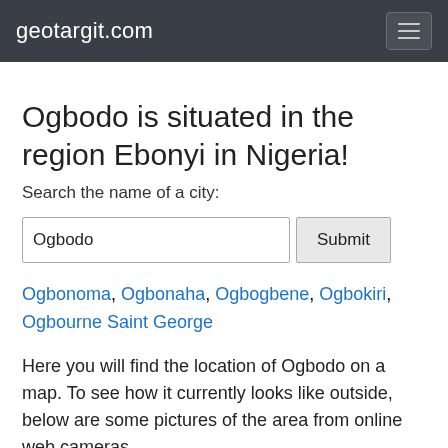geotargit.com
Ogbodo is situated in the region Ebonyi in Nigeria!
Search the name of a city:
Ogbodo [input field] Submit [button]
Ogbonoma, Ogbonaha, Ogbogbene, Ogbokiri, Ogbourne Saint George
Here you will find the location of Ogbodo on a map. To see how it currently looks like outside, below are some pictures of the area from online web cameras.